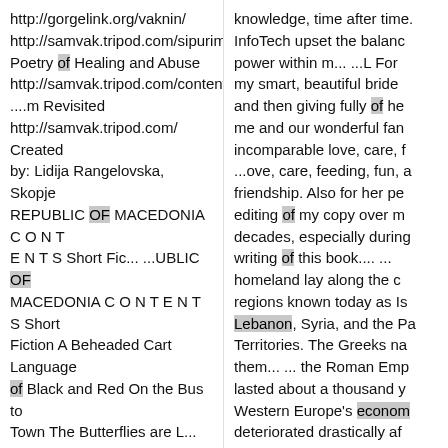http://gorgelink.org/vaknin/ http://samvak.tripod.com/sipurim.l Poetry of Healing and Abuse http://samvak.tripod.com/contents ....m Revisited http://samvak.tripod.com/ Created by: Lidija Rangelovska, Skopje REPUBLIC OF MACEDONIA C O N T E N T S Short Fic... ...UBLIC OF MACEDONIA C O N T E N T S Short Fiction A Beheaded Cart Language of Black and Red On the Bus to Town The Butterflies are L... ...ion. Today, you never know. Even their women are into killing, I saw it with my own eyes in Lebanon. They explode themselves like nothing, not a pro... ...d when intellectually engaged. My higher functions offer splendid regulation of my aqueous
knowledge, time after time. InfoTech upset the balance of power within m... ...L For my smart, beautiful bride and then giving fully of her love to me and our wonderful family, incomparable love, care, f... ...ove, care, feeding, fun, and friendship. Also for her patient editing of my copy over many decades, especially during the writing of this book.... ... B... homeland lay along the coastal regions known today as Is... Lebanon, Syria, and the Pa... Territories. The Greeks na... them... ... the Roman Emp... lasted about a thousand y... Western Europe's econom... deteriorated drastically af...